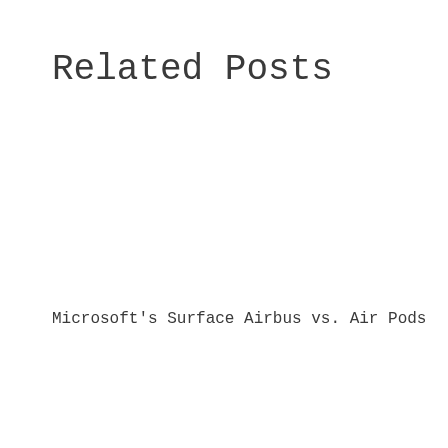Related Posts
Microsoft's Surface Airbus vs. Air Pods